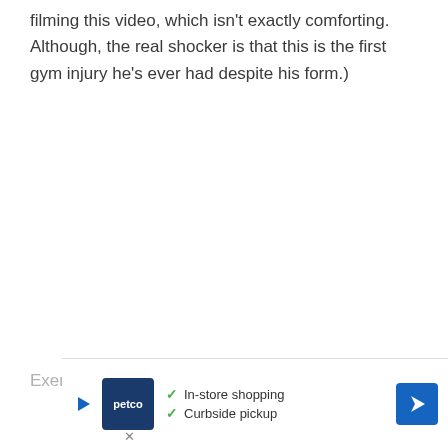filming this video, which isn't exactly comforting. Although, the real shocker is that this is the first gym injury he's ever had despite his form.)
Exer...
[Figure (other): Petco advertisement banner with logo, checkmark bullet points for 'In-store shopping' and 'Curbside pickup', a play button, and a blue directional arrow icon]